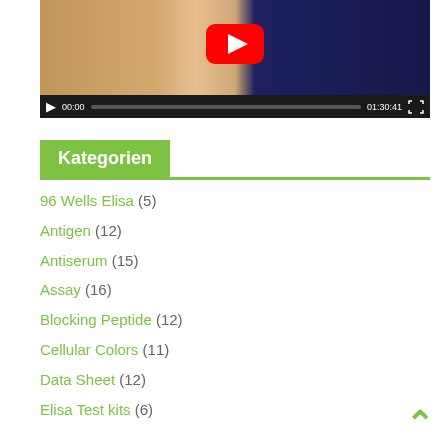[Figure (screenshot): YouTube video player showing an elderly man in a dark suit with a white beard. Controls show 00:00 start time and 01:30:41 total duration.]
Kategorien
96 Wells Elisa (5)
Antigen (12)
Antiserum (15)
Assay (16)
Blocking Peptide (12)
Cellular Colors (11)
Data Sheet (12)
Elisa Test kits (6)